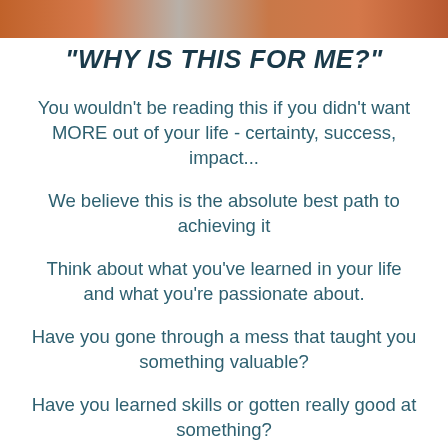[Figure (photo): Cropped photo strip at top of page showing people]
"WHY IS THIS FOR ME?"
You wouldn't be reading this if you didn't want MORE out of your life - certainty, success, impact...
We believe this is the absolute best path to achieving it
Think about what you've learned in your life and what you're passionate about.
Have you gone through a mess that taught you something valuable?
Have you learned skills or gotten really good at something?
Do you have hobbies or passions that you've invested a lot of your time in?